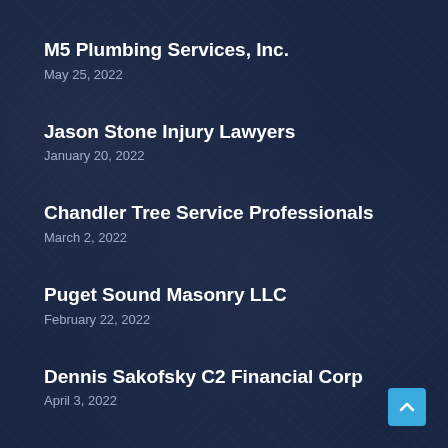M5 Plumbing Services, Inc.
May 25, 2022
Jason Stone Injury Lawyers
January 20, 2022
Chandler Tree Service Professionals
March 2, 2022
Puget Sound Masonry LLC
February 22, 2022
Dennis Sakofsky C2 Financial Corp
April 3, 2022